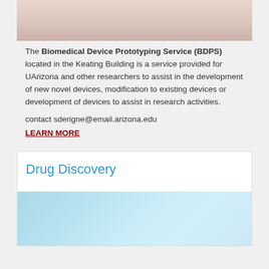[Figure (photo): Close-up photo of a person's face/skin, soft pink and beige tones, cropped at top of card]
The Biomedical Device Prototyping Service (BDPS) located in the Keating Building is a service provided for UArizona and other researchers to assist in the development of new novel devices, modification to existing devices or development of devices to assist in research activities.
contact sderigne@email.arizona.edu
LEARN MORE
Drug Discovery
[Figure (photo): Close-up photo of laboratory syringes/needles with light blue and white tones]